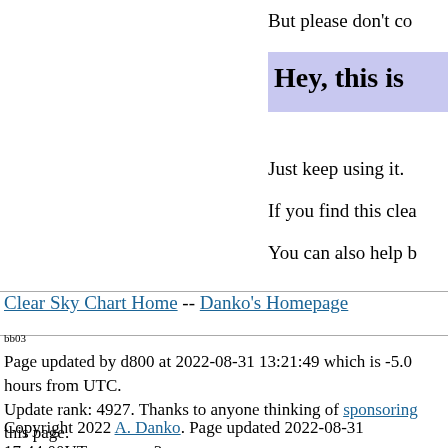But please don't co
Hey, this is
Just keep using it.
If you find this clea
You can also help b
Clear Sky Chart Home -- Danko's Homepage
bb03
Page updated by d800 at 2022-08-31 13:21:49 which is -5.0 hours from UTC.
Update rank: 4927. Thanks to anyone thinking of sponsoring this page.
Copyright 2022 A. Danko. Page updated 2022-08-31 17:44:00UT on server3.